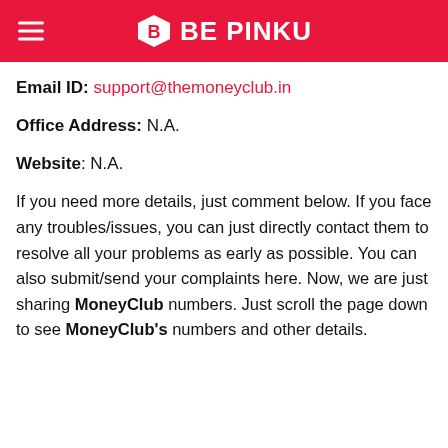BE PINKU
Email ID: support@themoneyclub.in
Office Address: N.A.
Website: N.A.
If you need more details, just comment below. If you face any troubles/issues, you can just directly contact them to resolve all your problems as early as possible. You can also submit/send your complaints here. Now, we are just sharing MoneyClub numbers. Just scroll the page down to see MoneyClub's numbers and other details.